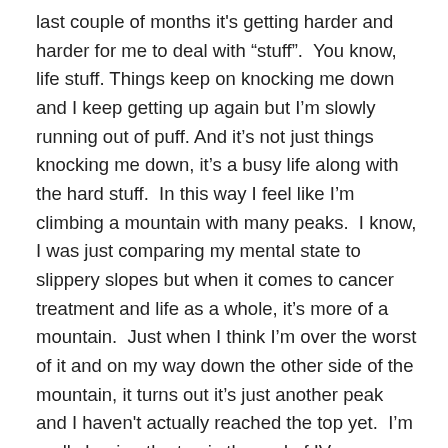last couple of months it's getting harder and harder for me to deal with “stuff”.  You know, life stuff. Things keep on knocking me down and I keep getting up again but I’m slowly running out of puff. And it’s not just things knocking me down, it’s a busy life along with the hard stuff.  In this way I feel like I’m climbing a mountain with many peaks.  I know, I was just comparing my mental state to slippery slopes but when it comes to cancer treatment and life as a whole, it’s more of a mountain.  Just when I think I’m over the worst of it and on my way down the other side of the mountain, it turns out it’s just another peak and I haven't actually reached the top yet.  I’m really hoping the top is the end of IV treatment, which is either 2 January 2014 or 12 December 2013, and that next year is a smooth, easy ride down the other side with a long flat straight at the bottom.  Pretty please!